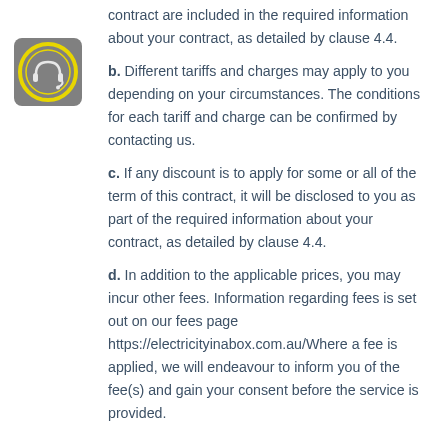[Figure (logo): Circular icon with yellow ring and headset/support symbol on dark grey background]
contract are included in the required information about your contract, as detailed by clause 4.4.
b. Different tariffs and charges may apply to you depending on your circumstances. The conditions for each tariff and charge can be confirmed by contacting us.
c. If any discount is to apply for some or all of the term of this contract, it will be disclosed to you as part of the required information about your contract, as detailed by clause 4.4.
d. In addition to the applicable prices, you may incur other fees. Information regarding fees is set out on our fees page https://electricityinabox.com.au/Where a fee is applied, we will endeavour to inform you of the fee(s) and gain your consent before the service is provided.